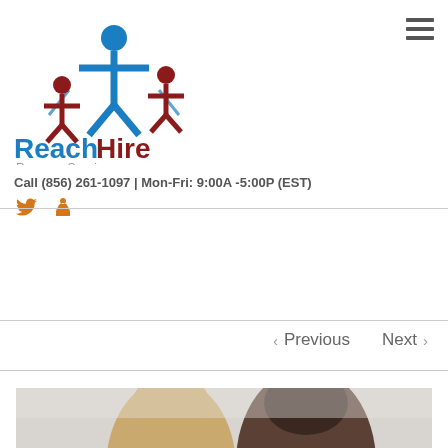[Figure (logo): ReachHire Resume Service logo with stylized human figures in blue and red]
Call (856) 261-1097 | Mon-Fri: 9:00A -5:00P (EST)
[Figure (illustration): Social media icons: Twitter bird and LinkedIn person icon in orange]
< Previous   Next >
[Figure (photo): Two people sitting together, likely in a professional consulting or interview setting, partial view cropped at bottom of page]